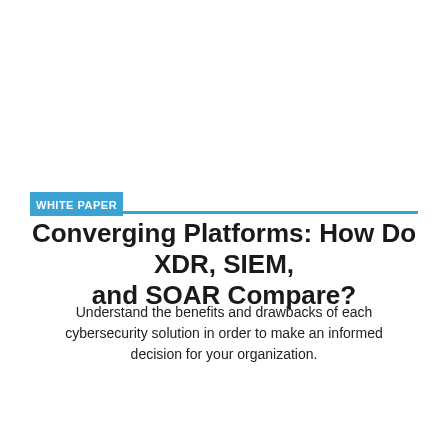WHITE PAPER
Converging Platforms: How Do XDR, SIEM, and SOAR Compare?
Understand the benefits and drawbacks of each cybersecurity solution in order to make an informed decision for your organization.
[Figure (screenshot): Cookie consent banner overlay on a website showing server rack image in the background. The banner reads: 'This Website Uses Cookies – By using this site, you agree to the storing of cookies on your device to enhance site navigation, analyze site usage, and assist in our marketing efforts.' A close (×) button appears in the top right of the banner. A blue chevron arrow is visible to the right of the banner. The background shows a dark server rack environment.]